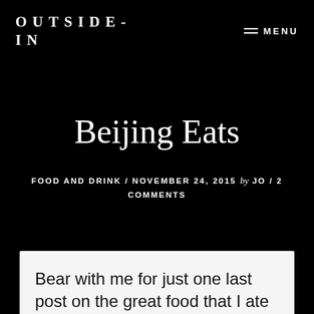OUTSIDE-IN
Beijing Eats
FOOD AND DRINK / NOVEMBER 24, 2015 by JO / 2 COMMENTS
Bear with me for just one last post on the great food that I ate in Beijing